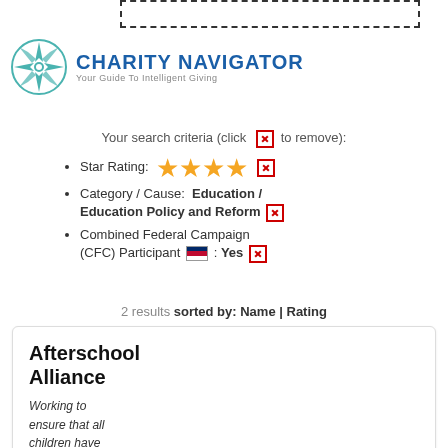[Figure (logo): Charity Navigator compass rose logo with teal/green color]
CHARITY NAVIGATOR
Your Guide To Intelligent Giving
Your search criteria (click [x] to remove):
Star Rating: ★★★★ [x]
Category / Cause: Education / Education Policy and Reform [x]
Combined Federal Campaign (CFC) Participant [flag] : Yes [x]
2 results sorted by: Name | Rating
Afterschool Alliance
Working to ensure that all children have access to affordable